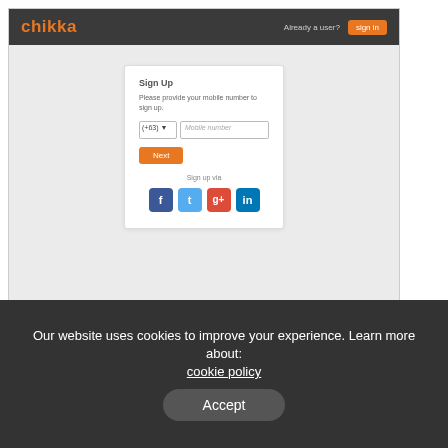[Figure (screenshot): Chikka Text Messenger sign-up page screenshot showing a dark navbar with the Chikka logo in orange and a Sign in button, a light gray body with a white sign-up card containing a mobile number input field with country code dropdown, a Next button, and social sign-up icons for Facebook, Twitter, Google+, and LinkedIn.]
v5 Sign in – Chikka Text Messenger
v5 Sign in. We are excited for you to experience the new Chikka
Our website uses cookies to improve your experience. Learn more about: cookie policy
Accept